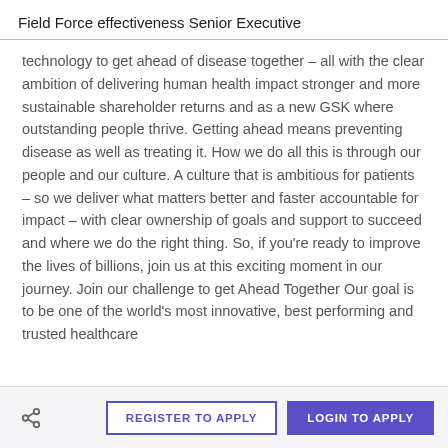Field Force effectiveness Senior Executive
technology to get ahead of disease together – all with the clear ambition of delivering human health impact stronger and more sustainable shareholder returns and as a new GSK where outstanding people thrive. Getting ahead means preventing disease as well as treating it. How we do all this is through our people and our culture. A culture that is ambitious for patients – so we deliver what matters better and faster accountable for impact – with clear ownership of goals and support to succeed and where we do the right thing. So, if you're ready to improve the lives of billions, join us at this exciting moment in our journey. Join our challenge to get Ahead Together Our goal is to be one of the world's most innovative, best performing and trusted healthcare
REGISTER TO APPLY   LOGIN TO APPLY